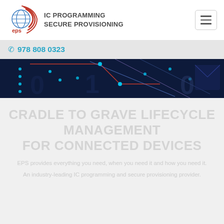[Figure (logo): EPS logo — globe with signal waves and red swoosh, with 'eps' text below]
IC PROGRAMMING
SECURE PROVISIONING
[Figure (other): Hamburger menu icon (three horizontal lines) in a rounded box]
978 808 0323
[Figure (photo): Dark blue circuit board / digital network banner image with glowing dots and lines]
CRADLE TO GRAVE LIFECYCLE MANAGEMENT FOR CONNECTED DEVICES
EPS provides everything you need, when you need it and how you need it.
An industry-leading IC programming and secure provisioning provider.